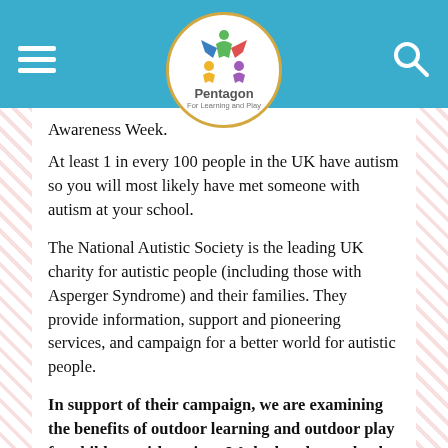[Figure (logo): Pentagon For Learning and Play logo — circular badge with gold border, colorful star figure made of people shapes, text 'Pentagon' and 'For Learning and Play']
Awareness Week.
At least 1 in every 100 people in the UK have autism so you will most likely have met someone with autism at your school.
The National Autistic Society is the leading UK charity for autistic people (including those with Asperger Syndrome) and their families. They provide information, support and pioneering services, and campaign for a better world for autistic people.
In support of their campaign, we are examining the benefits of outdoor learning and outdoor play for children with autism. We look at how schools can design their outdoor learning spaces and playgrounds specifically to support children with autism.